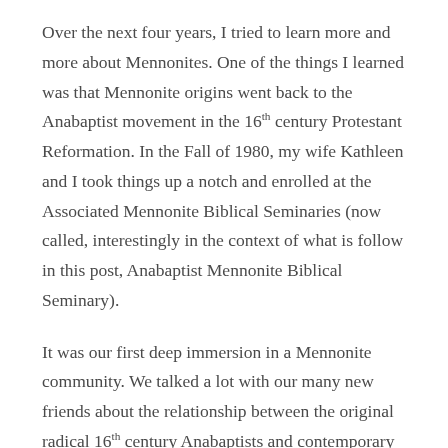Over the next four years, I tried to learn more and more about Mennonites. One of the things I learned was that Mennonite origins went back to the Anabaptist movement in the 16th century Protestant Reformation. In the Fall of 1980, my wife Kathleen and I took things up a notch and enrolled at the Associated Mennonite Biblical Seminaries (now called, interestingly in the context of what is follow in this post, Anabaptist Mennonite Biblical Seminary).
It was our first deep immersion in a Mennonite community. We talked a lot with our many new friends about the relationship between the original radical 16th century Anabaptists and contemporary Mennonite communities. In retrospect, it feels only somewhat facetious to